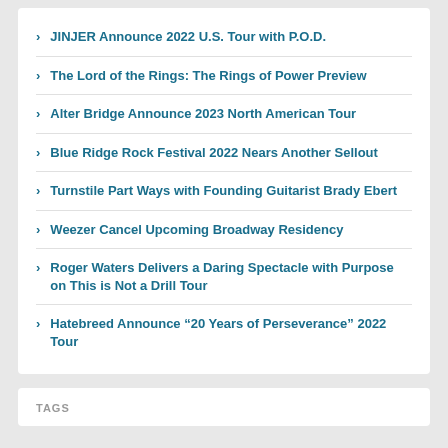JINJER Announce 2022 U.S. Tour with P.O.D.
The Lord of the Rings: The Rings of Power Preview
Alter Bridge Announce 2023 North American Tour
Blue Ridge Rock Festival 2022 Nears Another Sellout
Turnstile Part Ways with Founding Guitarist Brady Ebert
Weezer Cancel Upcoming Broadway Residency
Roger Waters Delivers a Daring Spectacle with Purpose on This is Not a Drill Tour
Hatebreed Announce “20 Years of Perseverance” 2022 Tour
TAGS